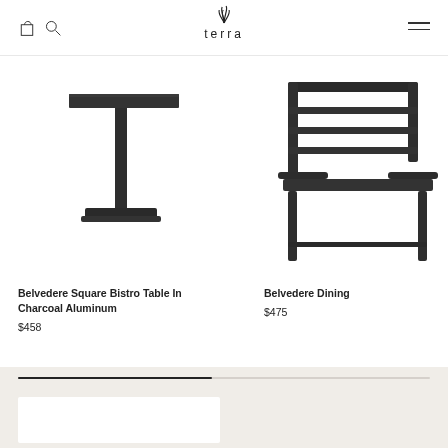terra — navigation header with cart, search, logo, and menu icons
[Figure (photo): Belvedere Square Bistro Table in Charcoal Aluminum — black square pedestal table on white background]
Belvedere Square Bistro Table In Charcoal Aluminum
$458
[Figure (photo): Belvedere Dining chair partially visible — dark charcoal aluminum chair on white background, cropped at right edge]
Belvedere Dining
$475